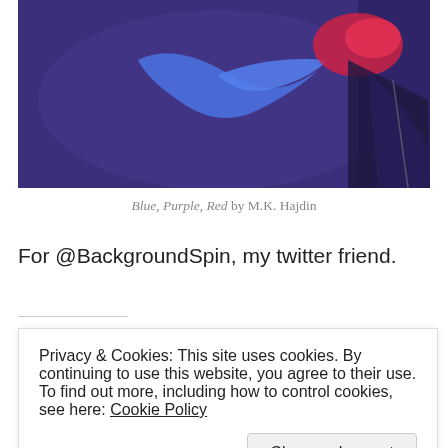[Figure (illustration): Abstract painting with blue and red hand/arm shapes on a dark purple background, titled Blue, Purple, Red by M.K. Hajdin]
Blue, Purple, Red by M.K. Hajdin
For @BackgroundSpin, my twitter friend.
Share this:
[Figure (other): Social media share buttons: Twitter (blue), Pinterest (red), Facebook (blue)]
Privacy & Cookies: This site uses cookies. By continuing to use this website, you agree to their use.
To find out more, including how to control cookies, see here: Cookie Policy